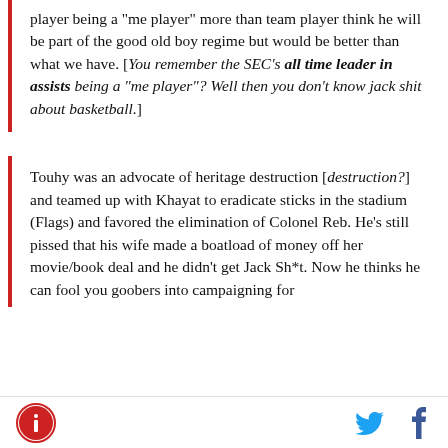player being a "me player" more than team player think he will be part of the good old boy regime but would be better than what we have. [You remember the SEC's all time leader in assists being a "me player"? Well then you don't know jack shit about basketball.]
Touhy was an advocate of heritage destruction [destruction?] and teamed up with Khayat to eradicate sticks in the stadium (Flags) and favored the elimination of Colonel Reb. He's still pissed that his wife made a boatload of money off her movie/book deal and he didn't get Jack Sh*t. Now he thinks he can fool you goobers into campaigning for him as A.D. What a patriot huh! Those comments...